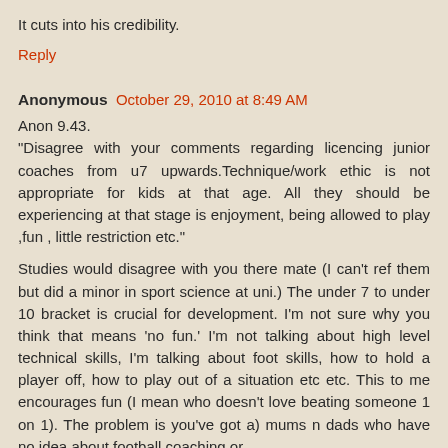It cuts into his credibility.
Reply
Anonymous  October 29, 2010 at 8:49 AM
Anon 9.43.
"Disagree with your comments regarding licencing junior coaches from u7 upwards.Technique/work ethic is not appropriate for kids at that age. All they should be experiencing at that stage is enjoyment, being allowed to play ,fun , little restriction etc."

Studies would disagree with you there mate (I can't ref them but did a minor in sport science at uni.) The under 7 to under 10 bracket is crucial for development. I'm not sure why you think that means 'no fun.' I'm not talking about high level technical skills, I'm talking about foot skills, how to hold a player off, how to play out of a situation etc etc. This to me encourages fun (I mean who doesn't love beating someone 1 on 1). The problem is you've got a) mums n dads who have no idea about football coaching or